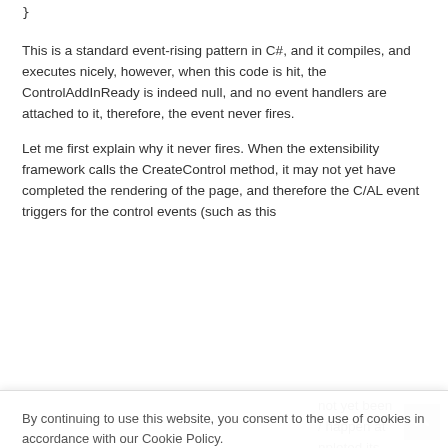}
This is a standard event-rising pattern in C#, and it compiles, and executes nicely, however, when this code is hit, the ControlAddInReady is indeed null, and no event handlers are attached to it, therefore, the event never fires.
Let me first explain why it never fires. When the extensibility framework calls the CreateControl method, it may not yet have completed the rendering of the page, and therefore the C/AL event triggers for the control events (such as this
not yet been / happen at npleted its ng on how inherit from t be true. ility e with. In
By continuing to use this website, you consent to the use of cookies in accordance with our Cookie Policy.
ACCEPT